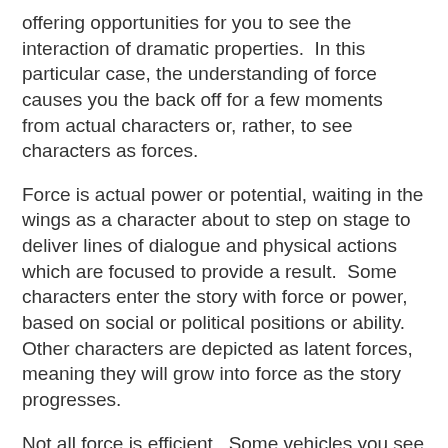offering opportunities for you to see the interaction of dramatic properties.  In this particular case, the understanding of force causes you the back off for a few moments from actual characters or, rather, to see characters as forces.
Force is actual power or potential, waiting in the wings as a character about to step on stage to deliver lines of dialogue and physical actions which are focused to provide a result.  Some characters enter the story with force or power, based on social or political positions or ability.  Other characters are depicted as latent forces, meaning they will grow into force as the story progresses.
Not all force is efficient.  Some vehicles you see from day to day in city and freeway traffic require relatively greater quantities of fuel to propel them.  Some characters have the equivalent of complicated